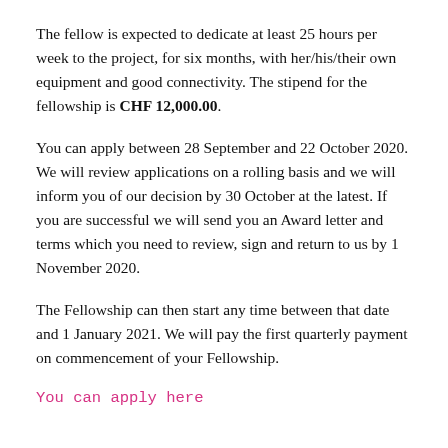The fellow is expected to dedicate at least 25 hours per week to the project, for six months, with her/his/their own equipment and good connectivity. The stipend for the fellowship is CHF 12,000.00.
You can apply between 28 September and 22 October 2020. We will review applications on a rolling basis and we will inform you of our decision by 30 October at the latest. If you are successful we will send you an Award letter and terms which you need to review, sign and return to us by 1 November 2020.
The Fellowship can then start any time between that date and 1 January 2021. We will pay the first quarterly payment on commencement of your Fellowship.
You can apply here